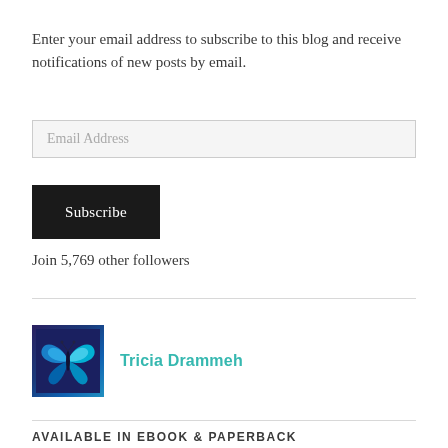Enter your email address to subscribe to this blog and receive notifications of new posts by email.
Email Address
Subscribe
Join 5,769 other followers
[Figure (photo): Circular avatar image of a bright blue butterfly on a dark blue/purple background, representing author Tricia Drammeh]
Tricia Drammeh
AVAILABLE IN EBOOK & PAPERBACK